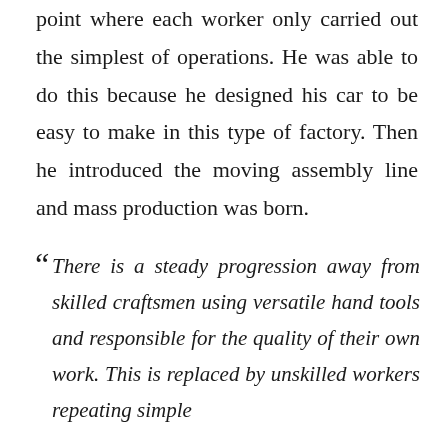point where each worker only carried out the simplest of operations. He was able to do this because he designed his car to be easy to make in this type of factory. Then he introduced the moving assembly line and mass production was born.
“ There is a steady progression away from skilled craftsmen using versatile hand tools and responsible for the quality of their own work. This is replaced by unskilled workers repeating simple